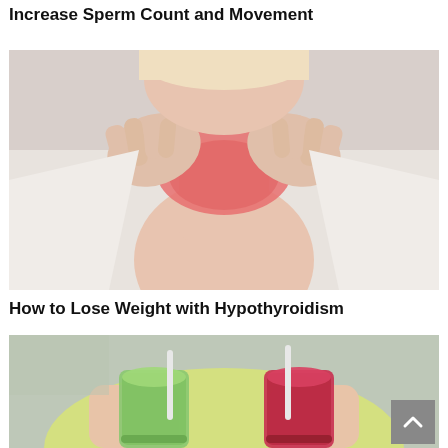Increase Sperm Count and Movement
[Figure (photo): Woman holding her neck/throat area with both hands, skin appears reddened around the thyroid/neck area, wearing white jacket and light top]
How to Lose Weight with Hypothyroidism
[Figure (photo): Woman in yellow tank top holding two smoothie glasses with straws - one green smoothie and one red/berry smoothie]